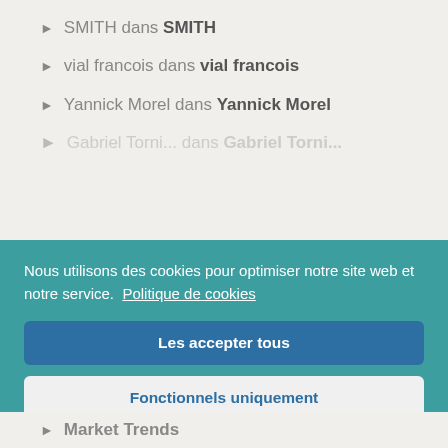SMITH dans SMITH
vial francois dans vial francois
Yannick Morel dans Yannick Morel
Gabriel Torni... dans Gabriel Torni...
Nous utilisons des cookies pour optimiser notre site web et notre service. Politique de cookies
Les accepter tous
Fonctionnels uniquement
Voir les préférences
Market Trends